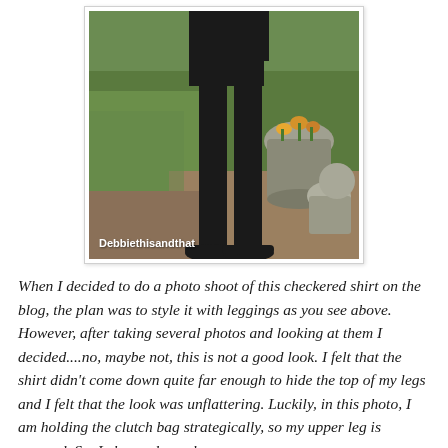[Figure (photo): Photo of a person's lower body wearing black leggings and black flat shoes, standing on a garden path with stone ornaments and green grass in background. Watermark reads 'Debbiethisandthat'.]
When I decided to do a photo shoot of this checkered shirt on the blog, the plan was to style it with leggings as you see above. However, after taking several photos and looking at them I decided....no, maybe not, this is not a good look. I felt that the shirt didn't come down quite far enough to hide the top of my legs and I felt that the look was unflattering. Luckily, in this photo, I am holding the clutch bag strategically, so my upper leg is covered. So, I changed my plans